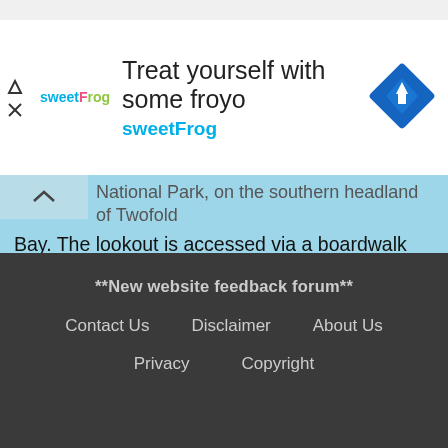[Figure (other): sweetFrog advertisement banner: logo with text 'sweetFrog', headline 'Treat yourself with some froyo', subtitle 'sweetFrog', and a blue diamond navigation icon on the right.]
National Park, on the southern headland of Twofold Bay. The lookout is accessed via a boardwalk from Boyds Tower. The lookout platform has a 1m high metal fenced and is wheelchair-accessible. There is a bench seat[Seat] near the lookout to rest and enjoy the view. The view looks north-west[30] across the bay to Eden, Boyd Town and Edrom to the left, and out over the South Pacific Ocean on the right[31].
**New website feedback forum**
Contact Us    Disclaimer    About Us
Privacy    Copyright